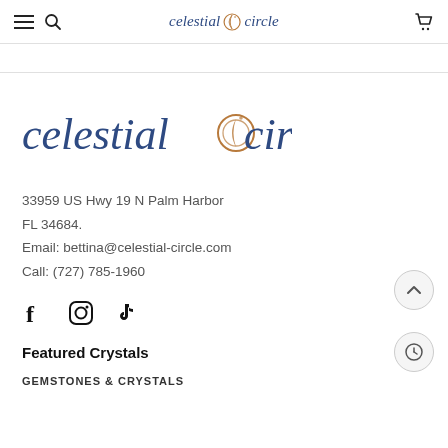celestial circle (navigation bar with hamburger, search, and cart icons)
[Figure (logo): Celestial Circle brand logo in large size — italic text 'celestial circle' in navy blue with a decorative bronze crescent/moon circle symbol between the two words]
33959 US Hwy 19 N Palm Harbor
FL 34684.
Email: bettina@celestial-circle.com
Call: (727) 785-1960
[Figure (other): Social media icons: Facebook (f), Instagram (circle with camera), TikTok (musical note)]
Featured Crystals
GEMSTONES & CRYSTALS